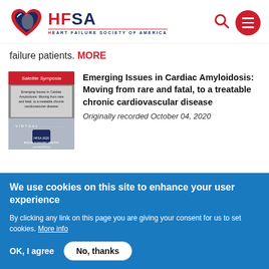[Figure (logo): HFSA Heart Failure Society of America logo with heart symbol]
failure patients. MORE
[Figure (photo): Satellite Symposia thumbnail image for Emerging Issues in Cardiac Amyloidosis, HFSA 2020 Annual Scientific Meeting]
Emerging Issues in Cardiac Amyloidosis: Moving from rare and fatal, to a treatable chronic cardiovascular disease
Originally recorded October 04, 2020
We use cookies on this site to enhance your user experience
By clicking any link on this page you are giving your consent for us to set cookies. More info
OK, I agree
No, thanks